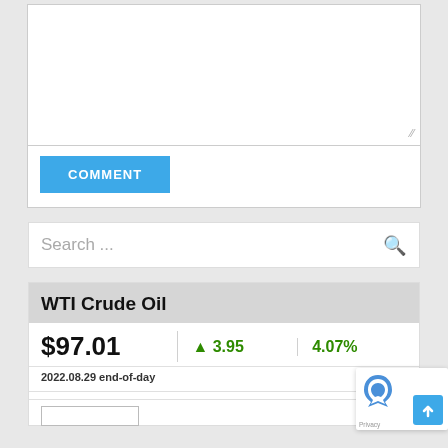[Figure (screenshot): Text input/comment box area with white background and resize handle, followed by a blue COMMENT button]
COMMENT
Search ...
| WTI Crude Oil |  |  |
| --- | --- | --- |
| $97.01 | ▲ 3.95 | 4.07% |
| 2022.08.29 end-of-day |  |  |
[Figure (screenshot): Partial chart placeholder at the bottom of WTI widget, with reCAPTCHA and privacy badge overlay in bottom right]